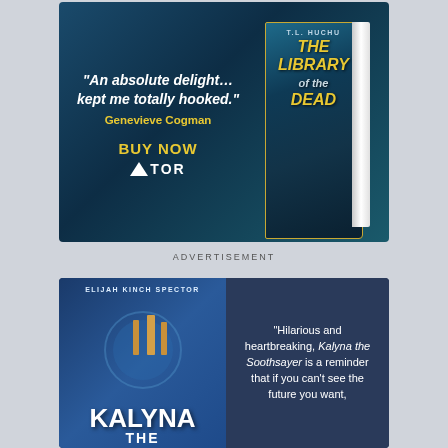[Figure (illustration): Book advertisement for 'The Library of the Dead' by T.L. Huchu, published by Tor. Dark teal background with white bold italic quote text: 'An absolute delight... kept me totally hooked.' Attribution in yellow: Genevieve Cogman. Yellow 'BUY NOW' call to action and Tor logo. Book cover shown on right side.]
ADVERTISEMENT
[Figure (illustration): Book advertisement for 'Kalyna the Soothsayer' (Kalyna The ...) by Elijah Kinch Spector. Left side shows blue/gold ornate book cover. Right side on dark navy background has quote: 'Hilarious and heartbreaking, Kalyna the Soothsayer is a reminder that if you can't see the future you want,']